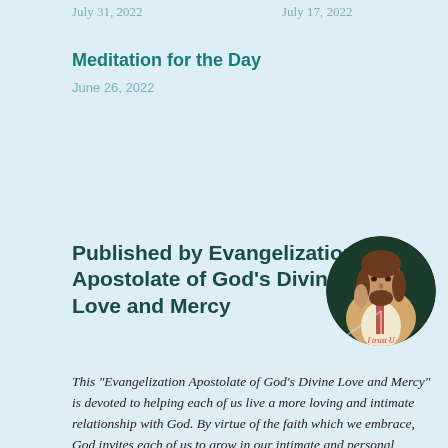July 31, 2022
July 17, 2022
Meditation for the Day
June 26, 2022
Published by Evangelization Apostolate of God's Divine Love and Mercy
[Figure (illustration): Circular portrait illustration of Jesus Christ raising his right hand, with rays of light emanating from his heart, with text 'I trust U' at bottom]
This “Evangelization Apostolate of God’s Divine Love and Mercy” is devoted to helping each of us live a more loving and intimate relationship with God. By virtue of the faith which we embrace, God invites each of us to grow in our intimate and personal relationship with Himself and all that is taught to us by our Holy Catholic faith. Daily meditations will help us to grow closer to God so on that...